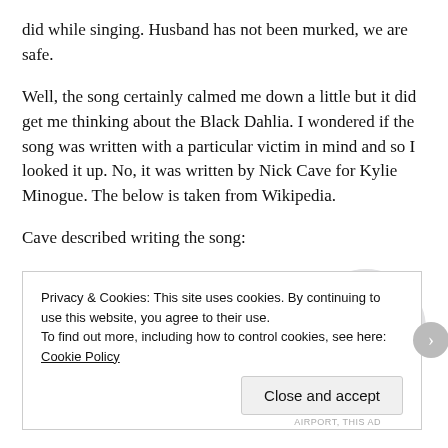did while singing. Husband has not been murked, we are safe.
Well, the song certainly calmed me down a little but it did get me thinking about the Black Dahlia. I wondered if the song was written with a particular victim in mind and so I looked it up. No, it was written by Nick Cave for Kylie Minogue. The below is taken from Wikipedia.
Cave described writing the song:
[Figure (other): An Apply button (blue, rounded rectangle) and a circular profile photo of a man with glasses and a beard, thinking with hand on chin, against a light grey background.]
Privacy & Cookies: This site uses cookies. By continuing to use this website, you agree to their use.
To find out more, including how to control cookies, see here: Cookie Policy
Close and accept